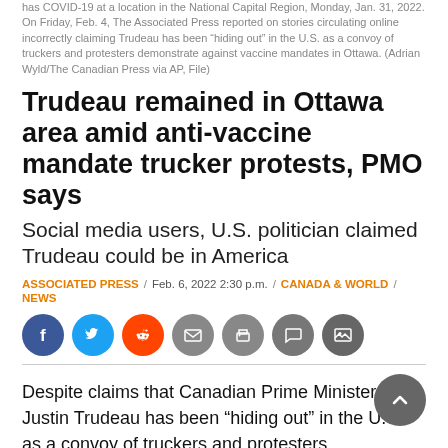has COVID-19 at a location in the National Capital Region, Monday, Jan. 31, 2022. On Friday, Feb. 4, The Associated Press reported on stories circulating online incorrectly claiming Trudeau has been “hiding out” in the U.S. as a convoy of truckers and protesters demonstrate against vaccine mandates in Ottawa. (Adrian Wyld/The Canadian Press via AP, File)
Trudeau remained in Ottawa area amid anti-vaccine mandate trucker protests, PMO says
Social media users, U.S. politician claimed Trudeau could be in America
ASSOCIATED PRESS / Feb. 6, 2022 2:30 p.m. / CANADA & WORLD / NEWS
[Figure (other): Social sharing buttons: Facebook, Twitter, Reddit, Email, Print, Comment, Image]
Despite claims that Canadian Prime Minister Justin Trudeau has been “hiding out” in the U.S. as a convoy of truckers and protesters demonstrate against vaccine mandates in Ottawa, the prime minister’s office confirmed to The